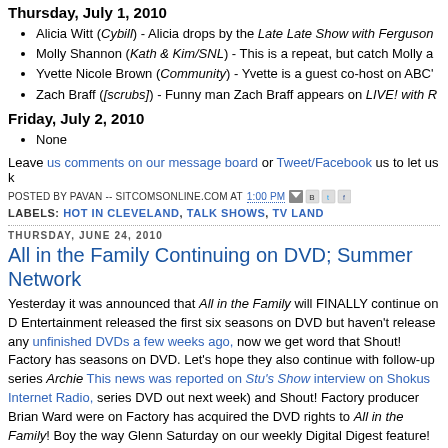Thursday, July 1, 2010
Alicia Witt (Cybill) - Alicia drops by the Late Late Show with Ferguson
Molly Shannon (Kath & Kim/SNL) - This is a repeat, but catch Molly a
Yvette Nicole Brown (Community) - Yvette is a guest co-host on ABC'
Zach Braff ([scrubs]) - Funny man Zach Braff appears on LIVE! with R
Friday, July 2, 2010
None
Leave us comments on our message board or Tweet/Facebook us to let us k
POSTED BY PAVAN -- SITCOMSONLINE.COM AT 1:00 PM
LABELS: HOT IN CLEVELAND, TALK SHOWS, TV LAND
THURSDAY, JUNE 24, 2010
All in the Family Continuing on DVD; Summer Network
Yesterday it was announced that All in the Family will FINALLY continue on D Entertainment released the first six seasons on DVD but haven't release any unfinished DVDs a few weeks ago, now we get word that Shout! Factory has seasons on DVD. Let's hope they also continue with follow-up series Archie This news was reported on Stu's Show interview on Shokus Internet Radio, series DVD out next week) and Shout! Factory producer Brian Ward were on Factory has acquired the DVD rights to All in the Family! Boy the way Glenn Saturday on our weekly Digital Digest feature!